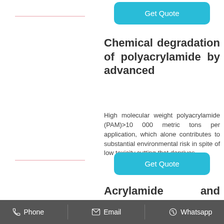[Figure (other): Pink horizontal line divider (top)]
[Figure (other): Pink horizontal line divider (bottom)]
[Figure (other): Get Quote button (first)]
Chemical degradation of polyacrylamide by advanced
High molecular weight polyacrylamide (PAM)>10 000 metric tons per application, which alone contributes to substantial environmental risk in spite of low toxicity.cutting that deprives
[Figure (other): Get Quote button (second)]
Acrylamide and Polyacrylamide: A Review of
Phone   Email   Whatsapp